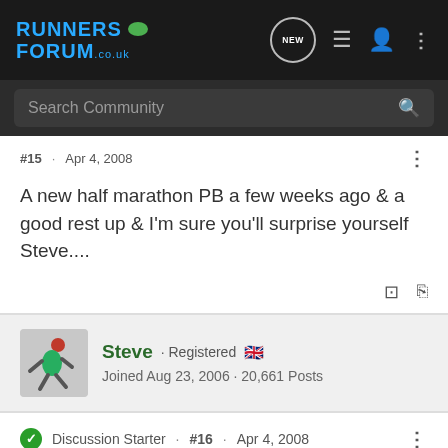RUNNERS FORUM .co.uk — navigation bar with NEW, list, user, and more icons
Search Community
#15 · Apr 4, 2008
A new half marathon PB a few weeks ago & a good rest up & I'm sure you'll surprise yourself Steve....
Steve · Registered  Joined Aug 23, 2006 · 20,661 Posts
Discussion Starter · #16 · Apr 4, 2008